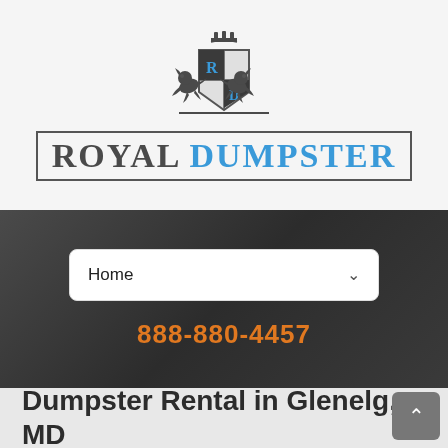[Figure (logo): Royal Dumpster logo with heraldic crest featuring two lions flanking a shield divided into quadrants with R and D letters, crown on top, with company name ROYAL DUMPSTER in bold bordered text below]
Home
888-880-4457
Dumpster Rental in Glenelg, MD